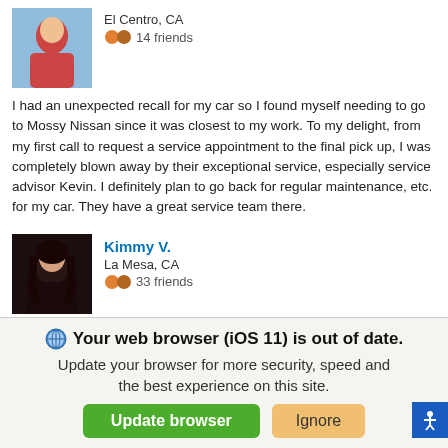[Figure (photo): Profile photo of male reviewer from El Centro, CA]
El Centro, CA
14 friends
I had an unexpected recall for my car so I found myself needing to go to Mossy Nissan since it was closest to my work. To my delight, from my first call to request a service appointment to the final pick up, I was completely blown away by their exceptional service, especially service advisor Kevin. I definitely plan to go back for regular maintenance, etc. for my car. They have a great service team there.
[Figure (photo): Profile photo of Kimmy V. from La Mesa, CA]
Kimmy V.
La Mesa, CA
33 friends
I have been bring my car at this Nissan for service and have always been helped by ether Joel or Kevin their customer service is great and it's always nice when you can have a trustworthy and honest service adviser! Keep up the great work and once again thank you both.
Nissan Dealer Serving
SAN MARCOS
Your web browser (iOS 11) is out of date. Update your browser for more security, speed and the best experience on this site.